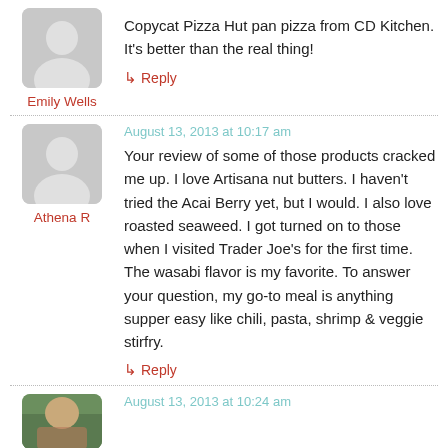[Figure (illustration): Gray placeholder avatar with silhouette figure, rounded corners]
Emily Wells
Copycat Pizza Hut pan pizza from CD Kitchen. It’s better than the real thing!
↳ Reply
[Figure (illustration): Gray placeholder avatar with silhouette figure, rounded corners]
Athena R
August 13, 2013 at 10:17 am
Your review of some of those products cracked me up. I love Artisana nut butters. I haven’t tried the Acai Berry yet, but I would. I also love roasted seaweed. I got turned on to those when I visited Trader Joe’s for the first time. The wasabi flavor is my favorite. To answer your question, my go-to meal is anything supper easy like chili, pasta, shrimp & veggie stirfry.
↳ Reply
August 13, 2013 at 10:24 am